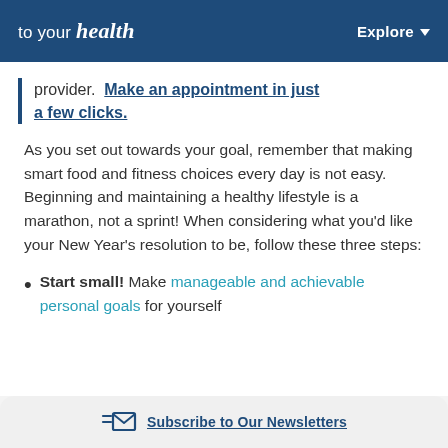to your health   Explore
provider. Make an appointment in just a few clicks.
As you set out towards your goal, remember that making smart food and fitness choices every day is not easy. Beginning and maintaining a healthy lifestyle is a marathon, not a sprint! When considering what you'd like your New Year's resolution to be, follow these three steps:
Start small! Make manageable and achievable personal goals for yourself
Subscribe to Our Newsletters